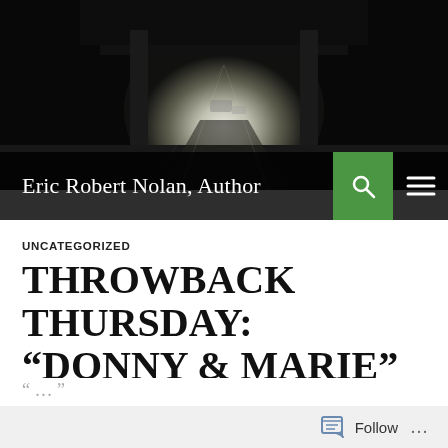[Figure (photo): Black and white photograph of a dark urban tunnel or underpass with light visible at the far end, cars and street visible through the opening]
Eric Robert Nolan, Author
UNCATEGORIZED
THROWBACK THURSDAY: “DONNY & MARIE” (1976-1979)!
⊞ JANUARY 3, 2019  • ERIC ROBERT NOLAN  ✣ 2 COMMENTS
You might be happy to think that I would’ve walked and...